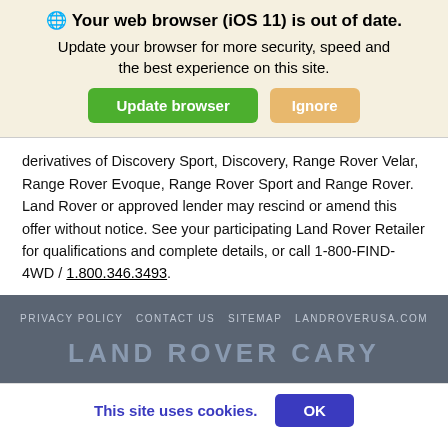[Figure (screenshot): Browser update notification banner with globe icon, title 'Your web browser (iOS 11) is out of date.', subtitle text, and two buttons: 'Update browser' (green) and 'Ignore' (tan/golden)]
derivatives of Discovery Sport, Discovery, Range Rover Velar, Range Rover Evoque, Range Rover Sport and Range Rover. Land Rover or approved lender may rescind or amend this offer without notice. See your participating Land Rover Retailer for qualifications and complete details, or call 1-800-FIND-4WD / 1.800.346.3493.
PRIVACY POLICY   CONTACT US   SITEMAP   LANDROVERUSA.COM
LAND ROVER CARY
This site uses cookies.   OK